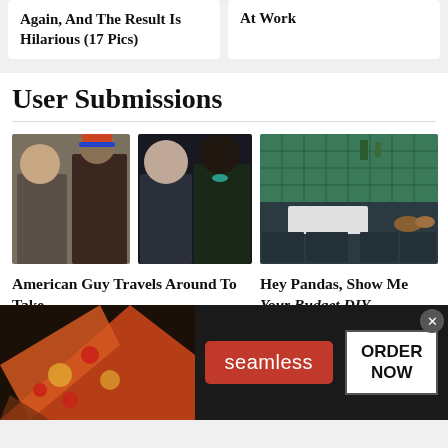Again, And The Result Is Hilarious (17 Pics)
At Work
User Submissions
[Figure (photo): Two photos side by side: left shows two men, one in colorful hat; right shows a man and woman posing together at an event]
American Guy Travels Around To Take
[Figure (photo): Kitchen interior with dark teal/navy cabinets and green tiled backsplash]
Hey Pandas, Show Me Your Budget DIY
[Figure (other): Seamless food delivery advertisement banner showing pizza on left, seamless logo button in center, and ORDER NOW button on right with close X button]